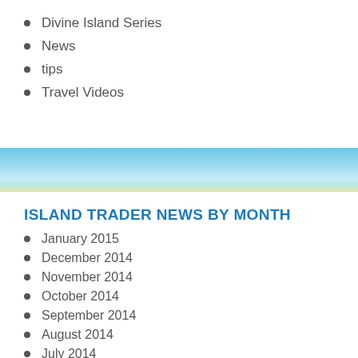Divine Island Series
News
tips
Travel Videos
ISLAND TRADER NEWS BY MONTH
January 2015
December 2014
November 2014
October 2014
September 2014
August 2014
July 2014